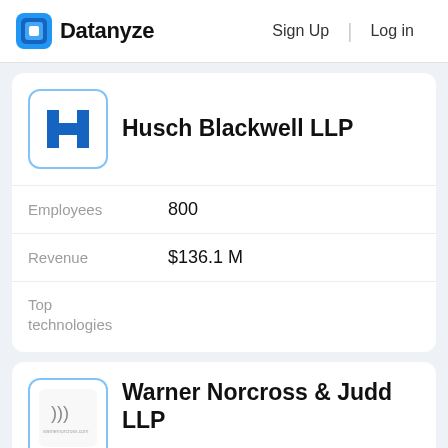Datanyze  Sign Up  Log in
Husch Blackwell LLP
Employees  800
Revenue  $136.1 M
Top technologies
Warner Norcross & Judd LLP